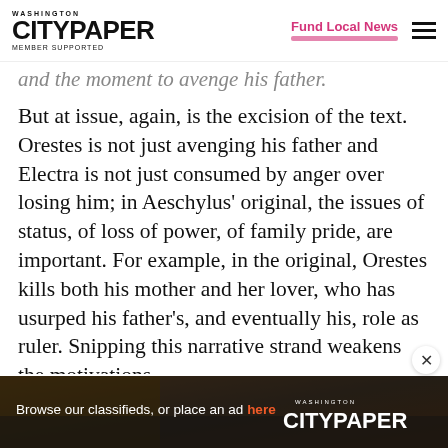Washington City Paper — Member Supported | Fund Local News
and the moment to avenge his father.
But at issue, again, is the excision of the text. Orestes is not just avenging his father and Electra is not just consumed by anger over losing him; in Aeschylus' original, the issues of status, of loss of power, of family pride, are important. For example, in the original, Orestes kills both his mother and her lover, who has usurped his father's, and eventually his, role as ruler. Snipping this narrative strand weakens the motivations
[Figure (screenshot): Advertisement banner for Washington City Paper classifieds: 'Browse our classifieds, or place an ad here' with City Paper logo on dark textured background]